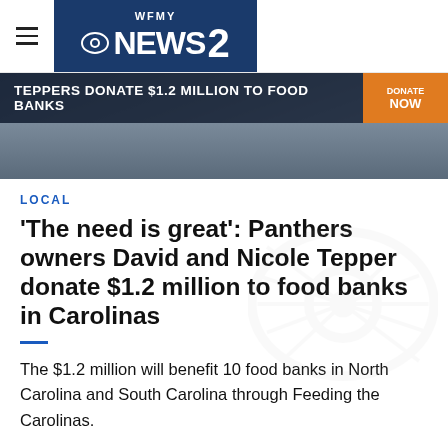WFMY NEWS 2
[Figure (screenshot): WFMY News 2 ticker banner showing headline: TEPPERS DONATE $1.2 MILLION TO FOOD BANKS with an orange badge on the right and a news photo background]
LOCAL
'The need is great': Panthers owners David and Nicole Tepper donate $1.2 million to food banks in Carolinas
The $1.2 million will benefit 10 food banks in North Carolina and South Carolina through Feeding the Carolinas.
Author: Hank Lee
Published: 11:13 AM EDT March 15, 2022
Updated: 12:15 PM EDT March 15, 2022